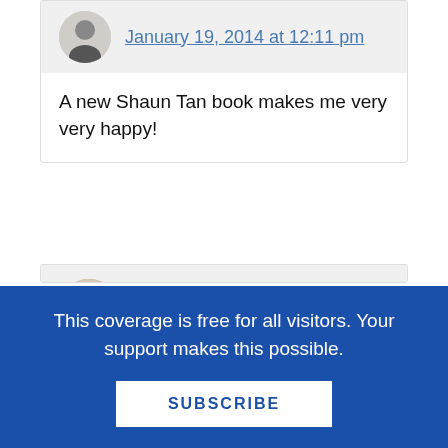January 19, 2014 at 12:11 pm
A new Shaun Tan book makes me very very happy!
Ed Spicer says
January 19, 2014 at 2:39 pm
Great collection today! I plan to share some of these. Thanks.
This coverage is free for all visitors. Your support makes this possible.
SUBSCRIBE